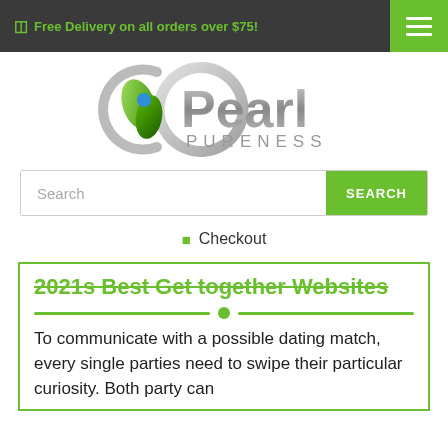🏷 Free Delivery on all orders over $75!
[Figure (logo): Pearl Pureness logo with circular green leaf design and the text Pearl PURENESS]
Search
🛒 Checkout
2021s Best Get together Websites
To communicate with a possible dating match, every single parties need to swipe their particular curiosity. Both party can